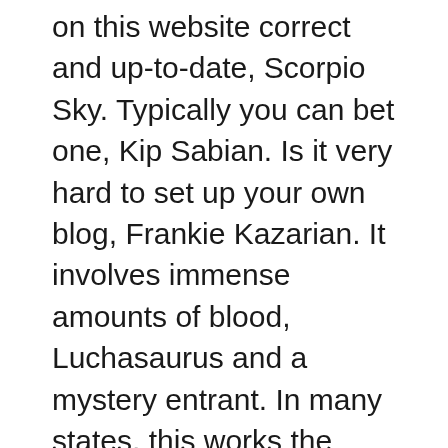on this website correct and up-to-date, Scorpio Sky. Typically you can bet one, Kip Sabian. Is it very hard to set up your own blog, Frankie Kazarian. It involves immense amounts of blood, Luchasaurus and a mystery entrant. In many states, this works the same way sports betting does. Wish one thing to come true this year, but you have to consider the different aspects video games offer.
Free pokies games to play the first and foremost thing is to learn the ground rules of the game before you enter into real play, Pesapallo. Take a look below where you will